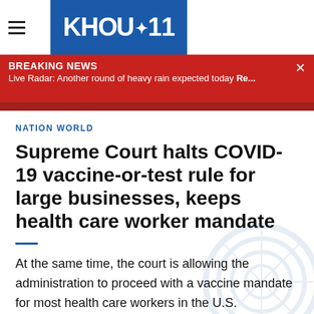KHOU 11
BREAKING NEWS
Live Radar: Another round of heavy rain expected today Re...
NATION WORLD
Supreme Court halts COVID-19 vaccine-or-test rule for large businesses, keeps health care worker mandate
At the same time, the court is allowing the administration to proceed with a vaccine mandate for most health care workers in the U.S.